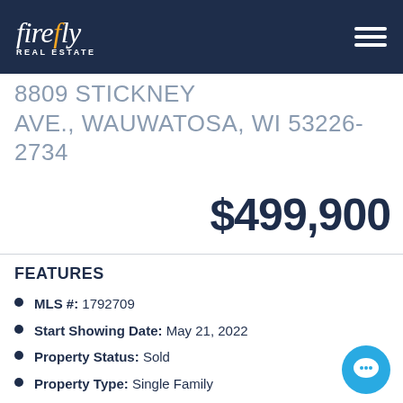firefly REAL ESTATE
8809 STICKNEY AVE., WAUWATOSA, WI 53226-2734
$499,900
FEATURES
MLS #: 1792709
Start Showing Date: May 21, 2022
Property Status: Sold
Property Type: Single Family
Total Rooms: 8
Bedrooms: 4